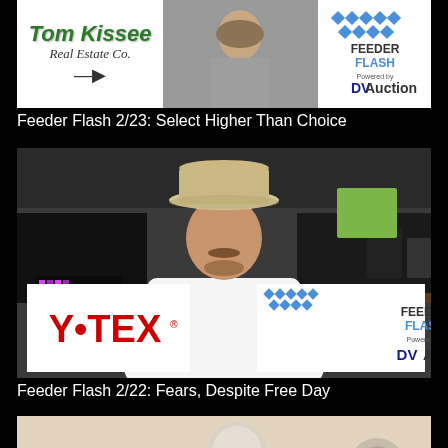[Figure (screenshot): Video thumbnail showing Tom Kissee Real Estate Co. logo on left, a person in center, and Feeder Flash Powered by DVAuction logo on right]
Feeder Flash 2/23: Select Higher Than Choice
[Figure (screenshot): Video thumbnail of a man in white shirt and cowboy hat with DV Auction sign and Y-Tex logo on lower left and Feeder Flash Powered by DVAuction logo on lower right]
Feeder Flash 2/22: Fears, Despite Free Day
[Figure (screenshot): Partial video thumbnail showing a person in a room, beginning of another Feeder Flash video]